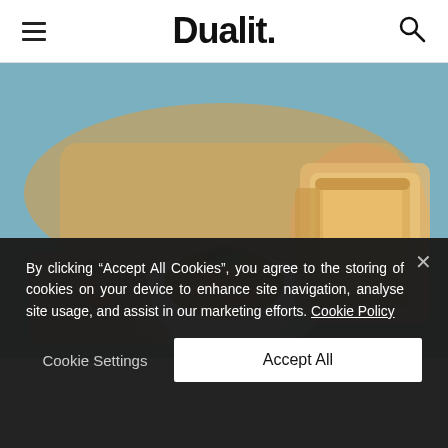Dualit.
[Figure (photo): Photo of baked beans in a white bowl garnished with thyme, with toasted bread slices on a wooden board in the background, on a blue-teal surface.]
By clicking “Accept All Cookies”, you agree to the storing of cookies on your device to enhance site navigation, analyse site usage, and assist in our marketing efforts. Cookie Policy
Cookie Settings
Accept All